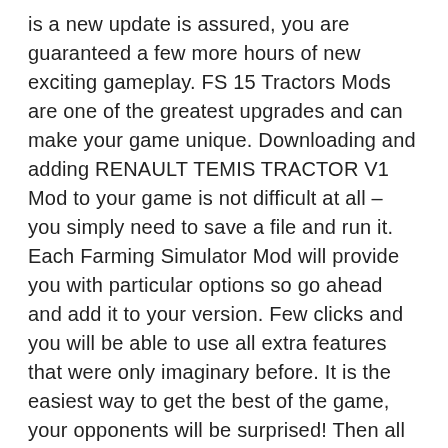is a new update is assured, you are guaranteed a few more hours of new exciting gameplay. FS 15 Tractors Mods are one of the greatest upgrades and can make your game unique. Downloading and adding RENAULT TEMIS TRACTOR V1 Mod to your game is not difficult at all – you simply need to save a file and run it. Each Farming Simulator Mod will provide you with particular options so go ahead and add it to your version. Few clicks and you will be able to use all extra features that were only imaginary before. It is the easiest way to get the best of the game, your opponents will be surprised! Then all you need to do is simply click on RENAULT TEMIS TRACTOR V1 Mod free download button and implement it to your game. This few simple steps will lift your game to the upper level – what can be better that upgrading your game personally? Break all boundaries and develop your farm easily. All of this is just the tip of the iceberg, what we offer on our website is countless hours of fun gameplay that will keep you invested for months. So go to our website, select your mod of choice, and click on download.